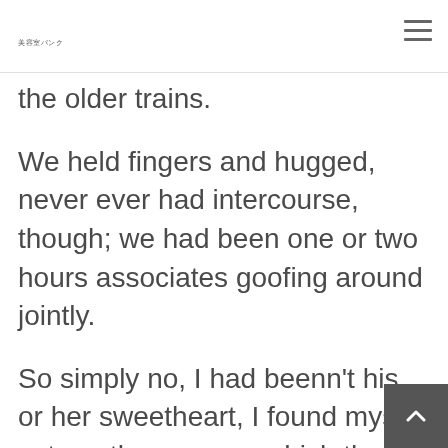美容室パンク
the older trains.
We held fingers and hugged, never ever had intercourse, though; we had been one or two hours associates goofing around jointly.
So simply no, I had beenn't his or her sweetheart, I found myself yet another woman which they simply wished to have sexual intercourse with but never ever gotten ability — bummer dude.